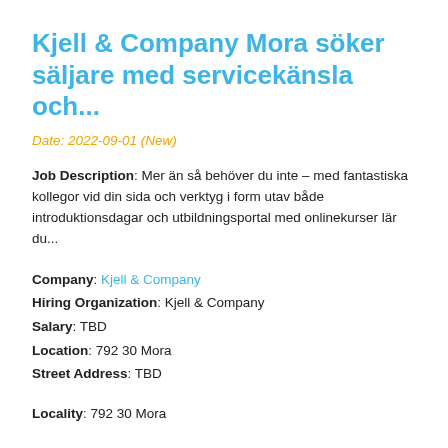Kjell & Company Mora söker säljare med servicekänsla och...
Date: 2022-09-01 (New)
Job Description: Mer än så behöver du inte – med fantastiska kollegor vid din sida och verktyg i form utav både introduktionsdagar och utbildningsportal med onlinekurser lär du...
Company: Kjell & Company
Hiring Organization: Kjell & Company
Salary: TBD
Location: 792 30 Mora
Street Address: TBD
Locality: 792 30 Mora